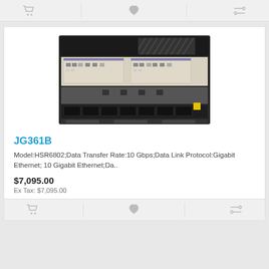[Figure (screenshot): Top navigation/action bar with shopping cart, heart/wishlist, and compare icons in gray]
[Figure (photo): Photo of a network router/switch chassis (JG361B / HSR6802) showing front panel with ports, modules, and power supplies, displayed in dark gray and beige colors]
JG361B
Model:HSR6802;Data Transfer Rate:10 Gbps;Data Link Protocol:Gigabit Ethernet; 10 Gigabit Ethernet;Da..
$7,095.00
Ex Tax: $7,095.00
[Figure (screenshot): Bottom navigation/action bar with shopping cart, heart/wishlist, and compare icons in gray]